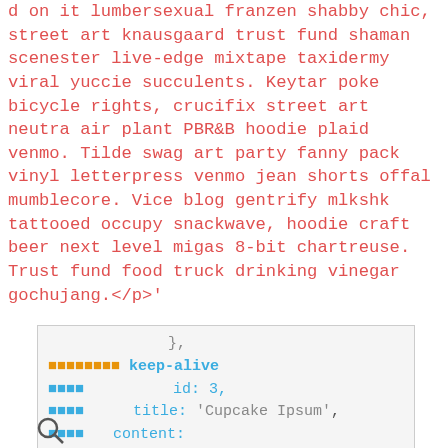d on it lumbersexual franzen shabby chic, street art knausgaard trust fund shaman scenester live-edge mixtape taxidermy viral yuccie succulents. Keytar poke bicycle rights, crucifix street art neutra air plant PBR&B hoodie plaid venmo. Tilde swag art party fanny pack vinyl letterpress venmo jean shorts offal mumblecore. Vice blog gentrify mlkshk tattooed occupy snackwave, hoodie craft beer next level migas 8-bit chartreuse. Trust fund food truck drinking vinegar gochujang.</p>'
}, ■■■■■■■■ keep-alive ■■■■ id: 3, ■■■■ title: 'Cupcake Ipsum', ■■■■ content: «<p>Icing dessert soufflé lollipop chocolate bar sweet tart cake chupa chups. Soufflé marzipan jelly beans croissant toffee marzipan cupcake icing fruitcake. Muffin cake pudding soufflé wafer jelly bear